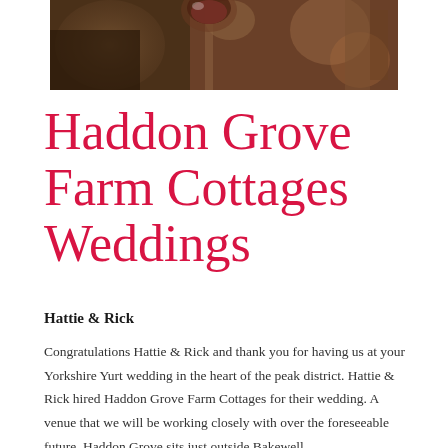[Figure (photo): Partial photo of a cocktail/wine glass being held, with warm bokeh background, cropped at top]
Haddon Grove Farm Cottages Weddings
Hattie & Rick
Congratulations Hattie & Rick and thank you for having us at your Yorkshire Yurt wedding in the heart of the peak district. Hattie & Rick hired Haddon Grove Farm Cottages for their wedding. A venue that we will be working closely with over the foreseeable future. Haddon Grove sits just outside Bakewell,